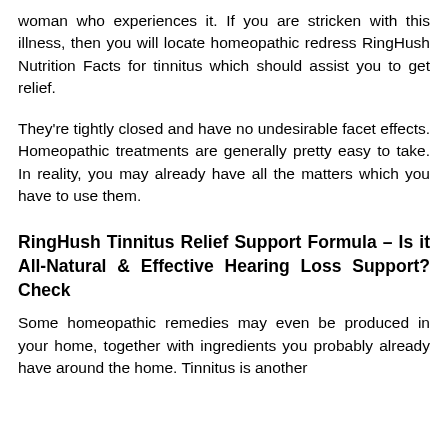woman who experiences it. If you are stricken with this illness, then you will locate homeopathic redress RingHush Nutrition Facts for tinnitus which should assist you to get relief.
They're tightly closed and have no undesirable facet effects. Homeopathic treatments are generally pretty easy to take. In reality, you may already have all the matters which you have to use them.
RingHush Tinnitus Relief Support Formula – Is it All-Natural & Effective Hearing Loss Support? Check
Some homeopathic remedies may even be produced in your home, together with ingredients you probably already have around the home. Tinnitus is another